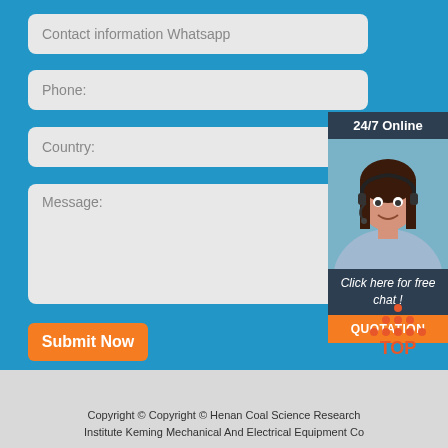Contact information Whatsapp
Phone:
Country:
Message:
Submit Now
24/7 Online
[Figure (photo): Customer service representative woman wearing headset, smiling]
Click here for free chat !
QUOTATION
[Figure (logo): TOP logo with orange dots arranged in triangle above text TOP in orange]
Copyright © Copyright © Henan Coal Science Research Institute Keming Mechanical And Electrical Equipment Co